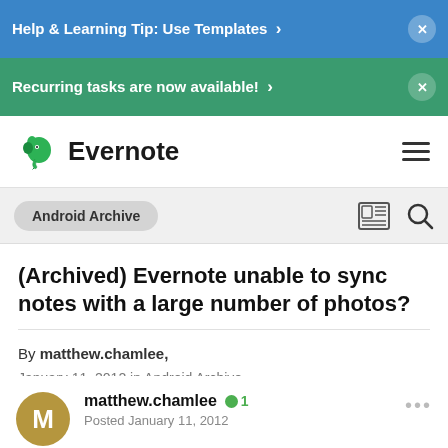Help & Learning Tip: Use Templates ×
Recurring tasks are now available! ×
Evernote (logo and hamburger menu)
Android Archive
(Archived) Evernote unable to sync notes with a large number of photos?
By matthew.chamlee,
January 11, 2012 in Android Archive
matthew.chamlee  1
Posted January 11, 2012